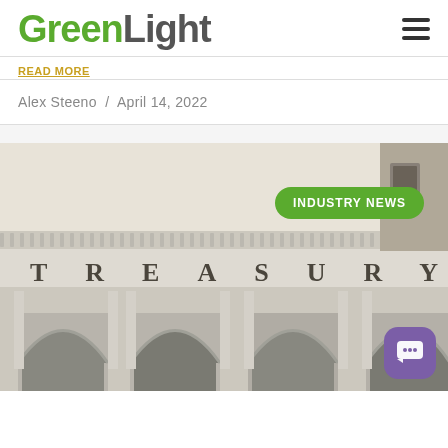GreenLight
READ MORE
Alex Steeno  /  April 14, 2022
[Figure (photo): Exterior photograph of a neoclassical treasury building with stone arches, columns, and the word TREASURY engraved above. A green 'INDUSTRY NEWS' badge overlays the top right. A purple chat button appears in the bottom right corner.]